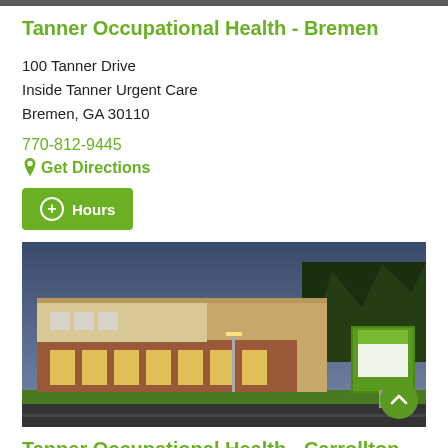Tanner Occupational Health - Bremen
100 Tanner Drive
Inside Tanner Urgent Care
Bremen, GA 30110
770-812-9445
Get Directions
Hours
[Figure (photo): Exterior photo of Tanner Urgent Care building at dusk, showing a modern brick and light-colored building with large windows, green signage, trees in background, and parking lot in foreground.]
Tanner Occupational Health - Carrollton